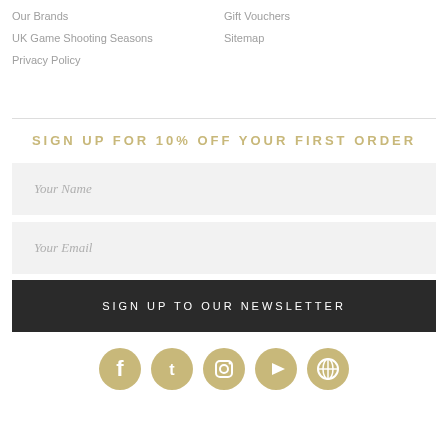Our Brands
Gift Vouchers
UK Game Shooting Seasons
Sitemap
Privacy Policy
SIGN UP FOR 10% OFF YOUR FIRST ORDER
Your Name
Your Email
SIGN UP TO OUR NEWSLETTER
[Figure (infographic): Row of five circular social media icons in gold/tan color: Facebook, Twitter, Instagram, YouTube, WordPress]